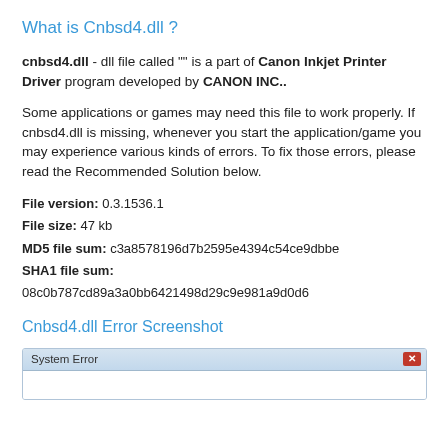What is Cnbsd4.dll ?
cnbsd4.dll - dll file called "" is a part of Canon Inkjet Printer Driver program developed by CANON INC..
Some applications or games may need this file to work properly. If cnbsd4.dll is missing, whenever you start the application/game you may experience various kinds of errors. To fix those errors, please read the Recommended Solution below.
File version: 0.3.1536.1
File size: 47 kb
MD5 file sum: c3a8578196d7b2595e4394c54ce9dbbe
SHA1 file sum:
08c0b787cd89a3a0bb6421498d29c9e981a9d0d6
Cnbsd4.dll Error Screenshot
[Figure (screenshot): System Error dialog box with title bar showing 'System Error' and a red close button (X)]